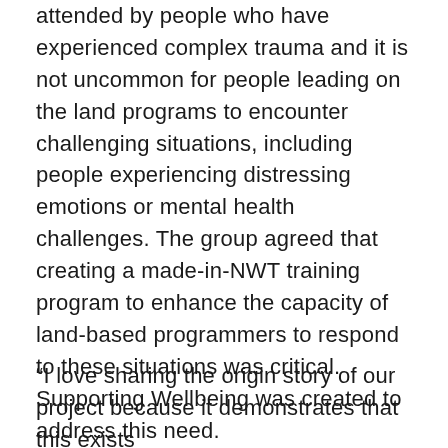attended by people who have experienced complex trauma and it is not uncommon for people leading on the land programs to encounter challenging situations, including people experiencing distressing emotions or mental health challenges. The group agreed that creating a made-in-NWT training program to enhance the capacity of land-based programmers to respond to these situations was critical. Supporting Wellbeing was created to address this need.
“I love sharing the origin story of our project because it demonstrates that this exists